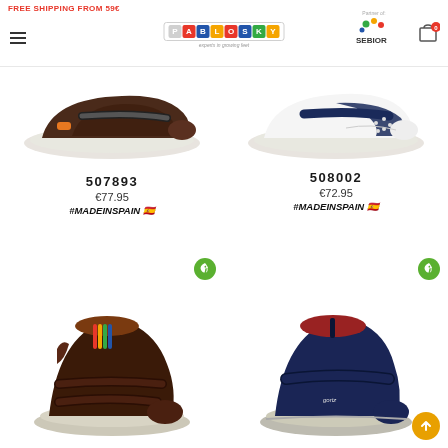FREE SHIPPING FROM 59€ | Pablosky - experts in growing feet | Partner of: SEBIOR | Cart: 0
507893
€77.95
#MADEINSPAIN 🇪🇸
508002
€72.95
#MADEINSPAIN 🇪🇸
[Figure (photo): Brown/dark children's sneaker with velcro strap and orange detail]
[Figure (photo): White children's sneaker with navy blue velcro strap]
[Figure (photo): Dark brown children's boot with velcro straps and eco badge]
[Figure (photo): Navy blue children's boot with red collar and velcro strap and eco badge]